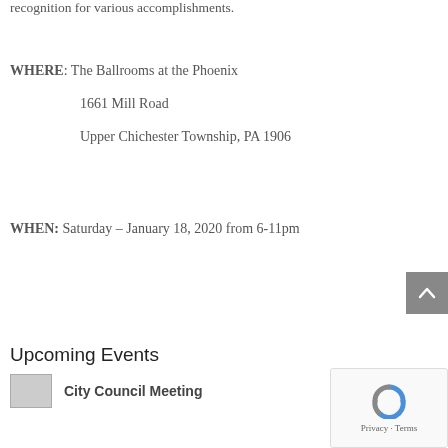recognition for various accomplishments.
WHERE:  The Ballrooms at the Phoenix

1661 Mill Road

Upper Chichester Township, PA 1906
WHEN: Saturday – January 18, 2020 from 6-11pm
Upcoming Events
City Council Meeting